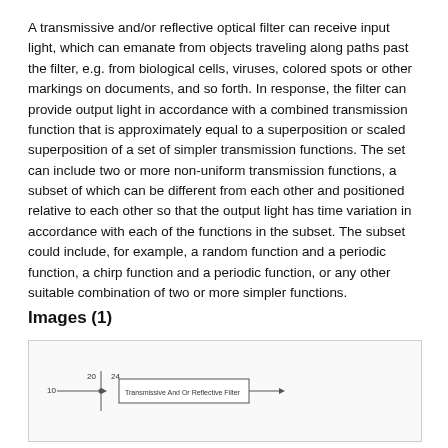A transmissive and/or reflective optical filter can receive input light, which can emanate from objects traveling along paths past the filter, e.g. from biological cells, viruses, colored spots or other markings on documents, and so forth. In response, the filter can provide output light in accordance with a combined transmission function that is approximately equal to a superposition or scaled superposition of a set of simpler transmission functions. The set can include two or more non-uniform transmission functions, a subset of which can be different from each other and positioned relative to each other so that the output light has time variation in accordance with each of the functions in the subset. The subset could include, for example, a random function and a periodic function, a chirp function and a periodic function, or any other suitable combination of two or more simpler functions.
Images (1)
[Figure (schematic): Partial view of a diagram labeled 'Transmissive And Or Reflective Filter' showing a schematic with nodes labeled 10, 20, 24 and filter block.]